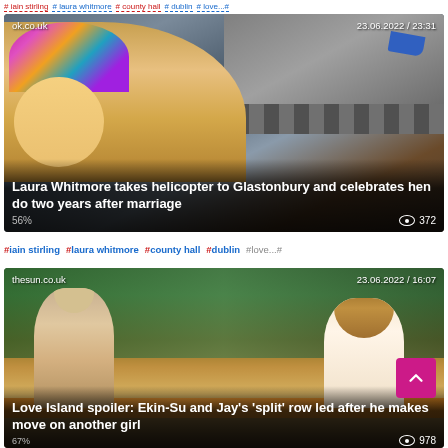# iain stirling  # laura whitmore  # county hall  # dublin  # love...#
[Figure (photo): News article card from ok.co.uk dated 23.06.2022 / 23:31 showing Laura Whitmore in a colorful festival hat alongside a street scene. Overlay text reads: Laura Whitmore takes helicopter to Glastonbury and celebrates hen do two years after marriage. Views: 372. Percentage: 56%.]
# iain stirling  # laura whitmore  # county hall  # dublin  # love...#
[Figure (photo): News article card from thesun.co.uk dated 23.06.2022 / 16:07 showing two people on a TV studio set. Overlay text reads: Love Island spoiler: Ekin-Su and Jay's 'split' row led after he makes move on another girl. Views: 978. Percentage: 67%.]